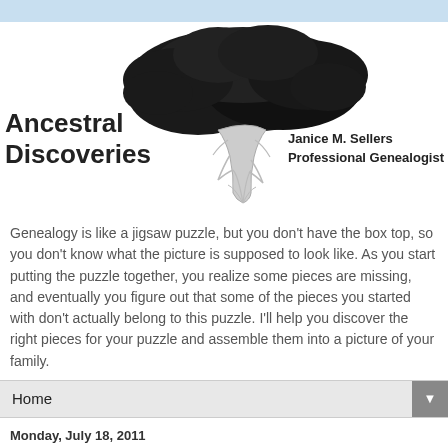[Figure (logo): Ancestral Discoveries logo with a large stylized tree (bonsai-like), text 'Ancestral Discoveries' on the left, and 'Janice M. Sellers Professional Genealogist' on the right]
Genealogy is like a jigsaw puzzle, but you don't have the box top, so you don't know what the picture is supposed to look like. As you start putting the puzzle together, you realize some pieces are missing, and eventually you figure out that some of the pieces you started with don't actually belong to this puzzle. I'll help you discover the right pieces for your puzzle and assemble them into a picture of your family.
Home ▼
Monday, July 18, 2011
Learn Mah Jongg in San Francisco